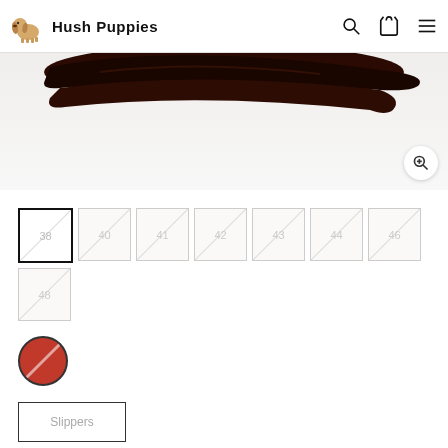Hush Puppies
[Figure (photo): Product shoe photo - dark brown shoe on white background, partially cropped]
[Figure (other): Size selector grid with sizes 38, 40, 41, 42, 43, 44, 46, 48. Size 38 is selected (black border). All others are crossed out/unavailable (diagonal strikethrough).]
[Figure (other): Color swatch circle - dark red/burgundy color with diagonal strikethrough slash]
[Figure (other): Category button labeled Slippers with border]